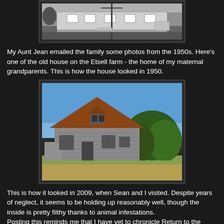[Figure (photo): Black and white photograph of the old house on the Etsell farm as it appeared in 1950]
My Aunt Jean emailed the family some photos from the 1950s. Here's one of the old house on the Etsell farm - the home of my maternal grandparents. This is how the house looked in 1950.
[Figure (photo): Color photograph of the same Etsell farm house as it appeared in 2009, showing an old weathered wooden house with a steep roof, surrounded by trees and grass]
This is how it looked in 2009, when Sean and I visited. Despite years of neglect, it seems to be holding up reasonably well, though the inside is pretty filthy thanks to animal infestations.
Posting this reminds me that I have yet to chronicle Return to the Edge of Nowhere, the story of my final (?) visit to Leaf